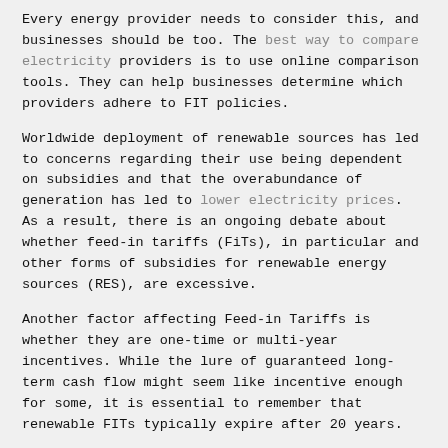Every energy provider needs to consider this, and businesses should be too. The best way to compare electricity providers is to use online comparison tools. They can help businesses determine which providers adhere to FIT policies.
Worldwide deployment of renewable sources has led to concerns regarding their use being dependent on subsidies and that the overabundance of generation has led to lower electricity prices. As a result, there is an ongoing debate about whether feed-in tariffs (FiTs), in particular and other forms of subsidies for renewable energy sources (RES), are excessive.
Another factor affecting Feed-in Tariffs is whether they are one-time or multi-year incentives. While the lure of guaranteed long-term cash flow might seem like incentive enough for some, it is essential to remember that renewable FITs typically expire after 20 years.
The period makes multi-year FITs a considerably less dangerous place for renewables investors because